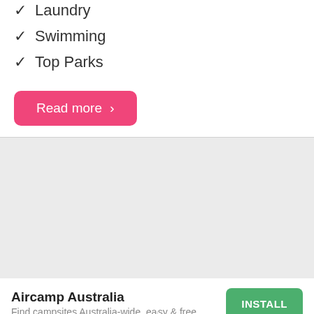✓ Laundry
✓ Swimming
✓ Top Parks
Read more ›
[Figure (screenshot): Gray placeholder area representing a map or image region]
Aircamp Australia — Find campsites Australia-wide, easy & free. INSTALL